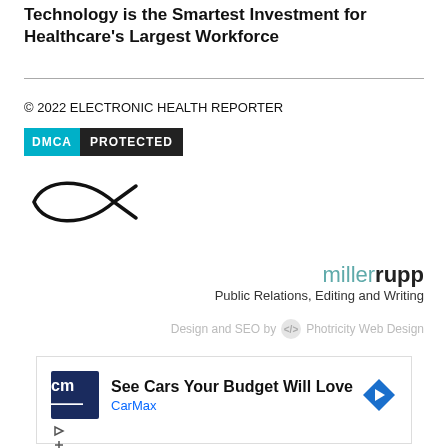Technology is the Smartest Investment for Healthcare's Largest Workforce
© 2022 ELECTRONIC HEALTH REPORTER
[Figure (logo): DMCA Protected badge with cyan and black background]
[Figure (illustration): Ichthys fish symbol (Christian fish) in black outline]
[Figure (logo): millerrupp logo with teal 'miller' and bold black 'rupp' text, subtitle: Public Relations, Editing and Writing]
Design and SEO by Photricity Web Design
[Figure (screenshot): CarMax advertisement: See Cars Your Budget Will Love, CarMax]